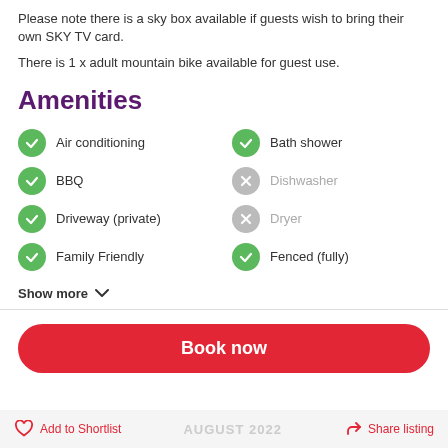Please note there is a sky box available if guests wish to bring their own SKY TV card.
There is 1 x adult mountain bike available for guest use.
Amenities
Air conditioning (available)
Bath shower (available)
BBQ (available)
Dishwasher (unavailable)
Driveway (private) (available)
Dryer (unavailable)
Family Friendly (available)
Fenced (fully) (available)
Show more
Book now
Add to Shortlist   AUGUST 2022   Share listing